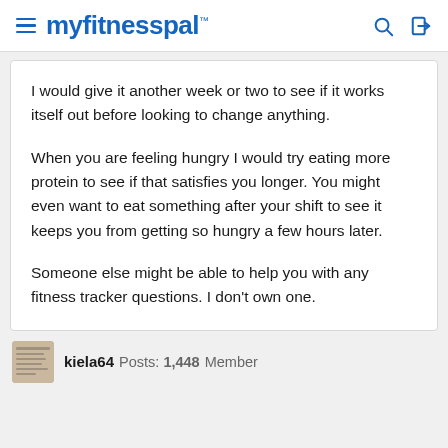myfitnesspal
I would give it another week or two to see if it works itself out before looking to change anything.

When you are feeling hungry I would try eating more protein to see if that satisfies you longer. You might even want to eat something after your shift to see it keeps you from getting so hungry a few hours later.

Someone else might be able to help you with any fitness tracker questions. I don't own one.
kiela64 Posts: 1,448 Member